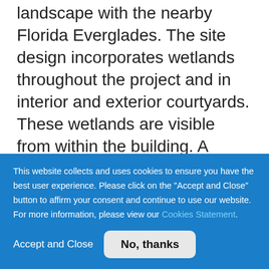landscape with the nearby Florida Everglades. The site design incorporates wetlands throughout the project and in interior and exterior courtyards. These wetlands are visible from within the building. A jogging path occurs around the reconstructed wetlands and there are locations for gathering and relaxation. Structures are made of locally sourced materials with high-recycled content and FSC-certified wood. Native and adaptive plant species occur site wide, creating a sustainable native plant community on aesthetically appealing grounds. The
This website collects and uses cookies to ensure you have the best user experience. Please click on the "Accept and Close" button to affirm your consent and continue to use our website. For more information, please view our Cookies Statement.
Accept and Close
No, thanks